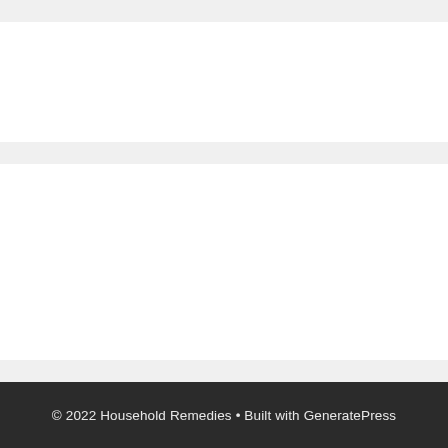© 2022 Household Remedies • Built with GeneratePress